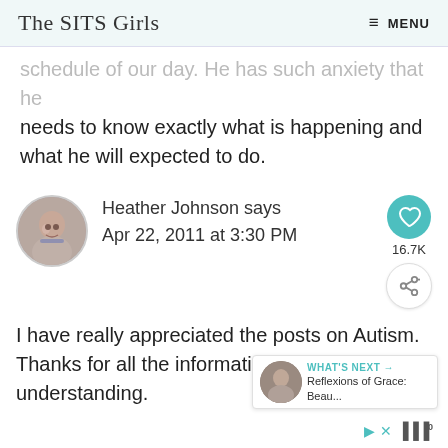The SITS Girls   ≡ MENU
schedule of our day. He has such anxiety that he needs to know exactly what is happening and what he will expected to do.
Heather Johnson says
Apr 22, 2011 at 3:30 PM
I have really appreciated the posts on Autism. Thanks for all the information and inc understanding.